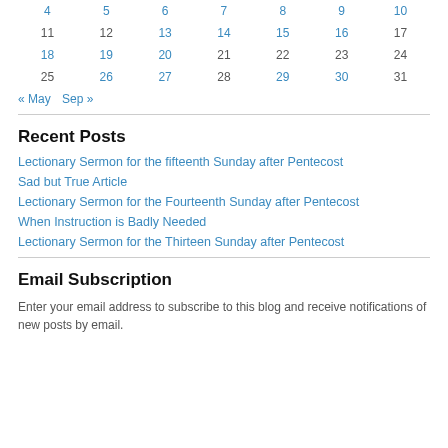| 4 | 5 | 6 | 7 | 8 | 9 | 10 |
| 11 | 12 | 13 | 14 | 15 | 16 | 17 |
| 18 | 19 | 20 | 21 | 22 | 23 | 24 |
| 25 | 26 | 27 | 28 | 29 | 30 | 31 |
« May   Sep »
Recent Posts
Lectionary Sermon for the fifteenth Sunday after Pentecost
Sad but True Article
Lectionary Sermon for the Fourteenth Sunday after Pentecost
When Instruction is Badly Needed
Lectionary Sermon for the Thirteen Sunday after Pentecost
Email Subscription
Enter your email address to subscribe to this blog and receive notifications of new posts by email.